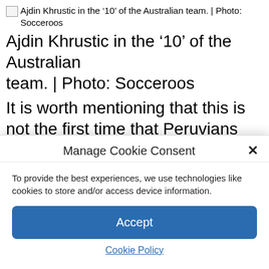[Figure (photo): Broken image placeholder for Ajdin Khrustic in the '10' of the Australian team. | Photo: Socceroos]
Ajdin Khrustic in the ‘10’ of the Australian team. | Photo: Socceroos
It is worth mentioning that this is not the first time that Peruvians and Australians have measured forces. And it is that in 2018, as part of the World Cup in Russia, they clashed on the third and final date of Group C. The result was 2-0 for the national team thanks
Manage Cookie Consent
To provide the best experiences, we use technologies like cookies to store and/or access device information.
Accept
Cookie Policy